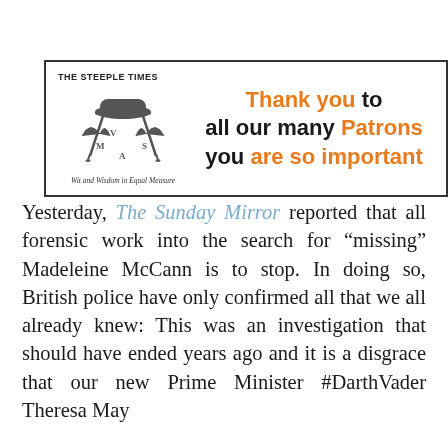[Figure (logo): The Steeple Times advertisement box with logo (bowler hat, crossed umbrellas, V M A S letters) and tagline 'Wit and Wisdom in Equal Measure', alongside text 'Thank you to all our many Patrons you are so important']
Yesterday, The Sunday Mirror reported that all forensic work into the search for "missing" Madeleine McCann is to stop. In doing so, British police have only confirmed all that we all already knew: This was an investigation that should have ended years ago and it is a disgrace that our new Prime Minister #DarthVader Theresa May